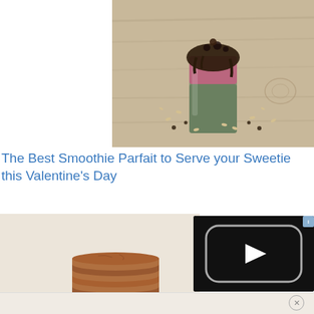[Figure (photo): A smoothie parfait in a glass jar topped with chocolate drizzle, nuts, and seeds, surrounded by scattered seeds on a wooden surface]
The Best Smoothie Parfait to Serve your Sweetie this Valentine's Day
[Figure (photo): A tall stack of round chocolate cookies/biscuits photographed on a light background]
[Figure (screenshot): A video player overlay showing a black screen with a white play button inside a rounded rectangle frame, with an ad badge in the top right corner]